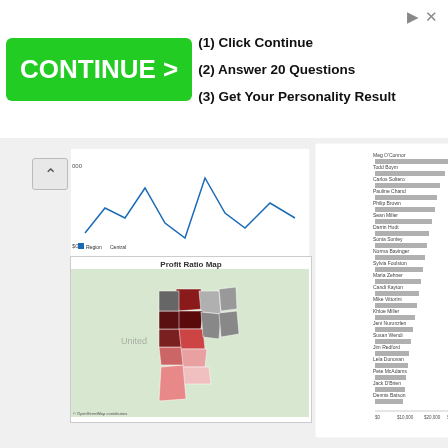[Figure (screenshot): Advertisement banner with green CONTINUE > button and steps: (1) Click Continue, (2) Answer 20 Questions, (3) Get Your Personality Result]
[Figure (screenshot): Screenshot of a Tableau dashboard showing a line chart (profit over quarters 2009 Q4–2012 Q4), a Profit Ratio Map of the US central region, and a horizontal bar chart of sales by customer name filtered by Order Priority (Critical checked)]
Do you need to show the quick filters using this technique? No, but for me it makes the image more clear to the reader to do so.  You could remove the quick filters and have the title update based on the filters.  That would look good.
Finally, if you want to include multiple selections from a filter, perhaps Critical and High, then you simply add ,High to the